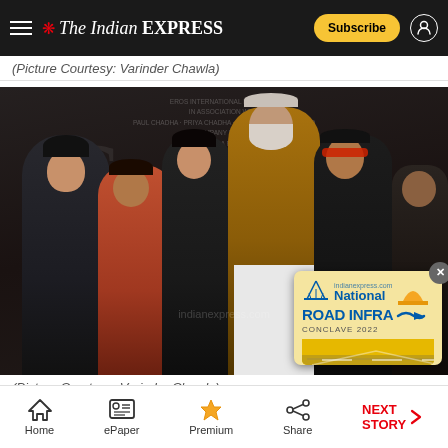The Indian Express — Subscribe
(Picture Courtesy: Varinder Chawla)
[Figure (photo): Group photo of Bollywood celebrities including Amitabh Bachchan in a golden kurta, along with other cast and crew members, posing in front of a movie promotion backdrop. An advertisement overlay for National Road Infra Conclave 2022 is visible in the lower right corner.]
(Picture Courtesy: Varinder Chawla)
Home | ePaper | Premium | Share | NEXT STORY